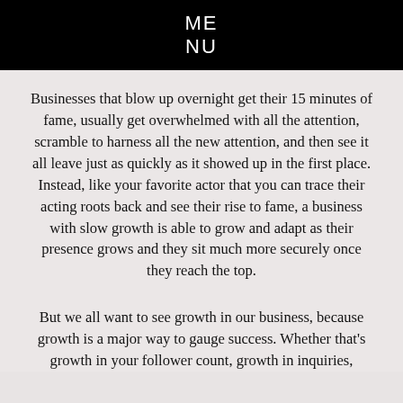ME
NU
Businesses that blow up overnight get their 15 minutes of fame, usually get overwhelmed with all the attention, scramble to harness all the new attention, and then see it all leave just as quickly as it showed up in the first place. Instead, like your favorite actor that you can trace their acting roots back and see their rise to fame, a business with slow growth is able to grow and adapt as their presence grows and they sit much more securely once they reach the top.
But we all want to see growth in our business, because growth is a major way to gauge success. Whether that’s growth in your follower count, growth in inquiries,